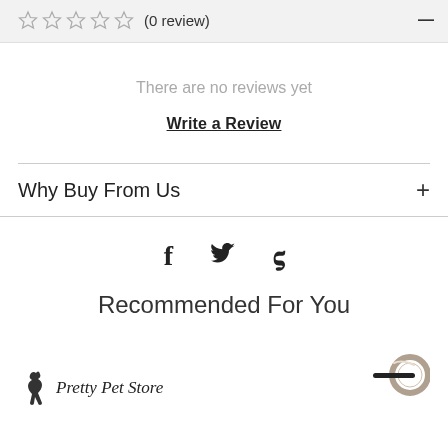☆☆☆☆☆ (0 review)
There are no reviews yet
Write a Review
Why Buy From Us  +
[Figure (other): Social media icons: Facebook (f), Twitter (bird), Pinterest (p)]
Recommended For You
[Figure (logo): Pretty Pet Store logo with stylized animal silhouette and cursive text]
[Figure (photo): Metal ring/keyring product photo]